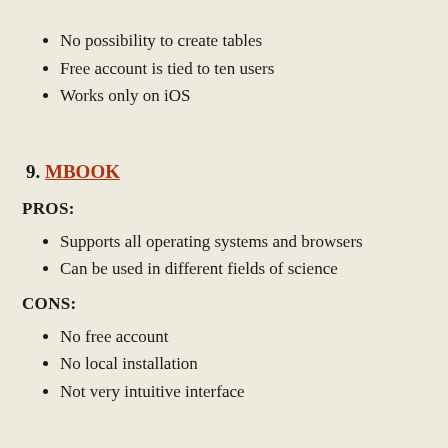No possibility to create tables
Free account is tied to ten users
Works only on iOS
9. MBOOK
PROS:
Supports all operating systems and browsers
Can be used in different fields of science
CONS:
No free account
No local installation
Not very intuitive interface